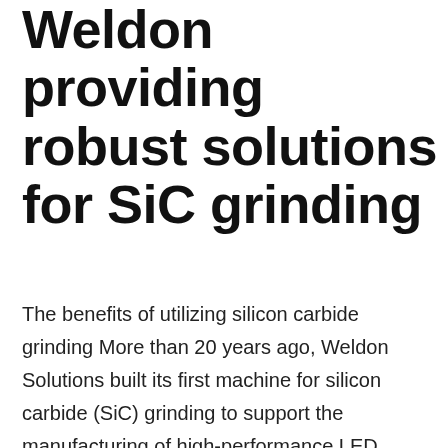Weldon providing robust solutions for SiC grinding
The benefits of utilizing silicon carbide grinding More than 20 years ago, Weldon Solutions built its first machine for silicon carbide (SiC) grinding to support the manufacturing of high-performance LED lighting applications. As the electric vehicle market has flourished in recent years, the increased use of SiC microchips has grown exponentially, creating new opportunities for specialized grinding machines. At Weldon Solutions, a company built on innovation and